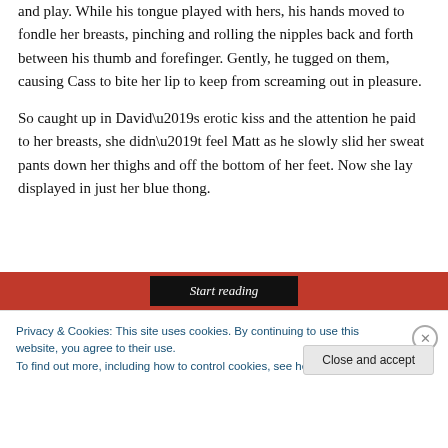and play. While his tongue played with hers, his hands moved to fondle her breasts, pinching and rolling the nipples back and forth between his thumb and forefinger. Gently, he tugged on them, causing Cass to bite her lip to keep from screaming out in pleasure.
So caught up in David’s erotic kiss and the attention he paid to her breasts, she didn’t feel Matt as he slowly slid her sweat pants down her thighs and off the bottom of her feet. Now she lay displayed in just her blue thong.
[Figure (other): Red banner with black 'Start reading' button]
Privacy & Cookies: This site uses cookies. By continuing to use this website, you agree to their use.
To find out more, including how to control cookies, see here: Cookie Policy